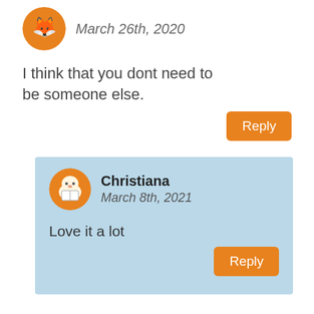March 26th, 2020
I think that you dont need to be someone else.
Reply
Christiana
March 8th, 2021
Love it a lot
Reply